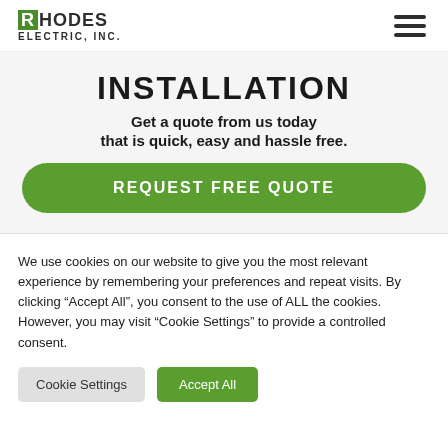[Figure (logo): Rhodes Electric, Inc. logo with green R block letter]
[Figure (other): Hamburger menu icon with three horizontal lines]
INSTALLATION
Get a quote from us today that is quick, easy and hassle free.
REQUEST FREE QUOTE
We use cookies on our website to give you the most relevant experience by remembering your preferences and repeat visits. By clicking “Accept All”, you consent to the use of ALL the cookies. However, you may visit “Cookie Settings” to provide a controlled consent.
Cookie Settings
Accept All